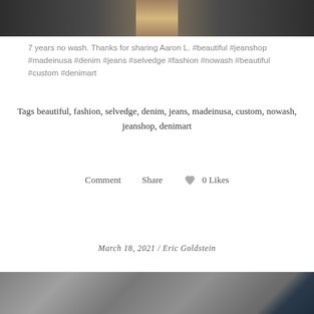[Figure (photo): Top portion of denim jeans photo, dark indigo fabric with wooden/textile surface visible]
7 years no wash. Thanks for sharing Aaron L. #beautiful #jeanshop #madeinusa #denim #jeans #selvedge #fashion #nowash #beautiful #custom #denimart
Tags beautiful, fashion, selvedge, denim, jeans, madeinusa, custom, nowash, jeanshop, denimart
Comment   Share   0 Likes
March 18, 2021 / Eric Goldstein
[Figure (photo): Bottom portion showing gravel/pebble ground texture with corner of dark denim jeans visible at right]